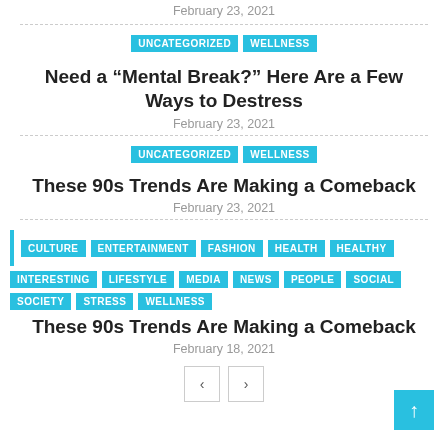February 23, 2021
UNCATEGORIZED  WELLNESS
Need a “Mental Break?” Here Are a Few Ways to Destress
February 23, 2021
UNCATEGORIZED  WELLNESS
These 90s Trends Are Making a Comeback
February 23, 2021
CULTURE  ENTERTAINMENT  FASHION  HEALTH  HEALTHY  INTERESTING  LIFESTYLE  MEDIA  NEWS  PEOPLE  SOCIAL  SOCIETY  STRESS  WELLNESS
These 90s Trends Are Making a Comeback
February 18, 2021